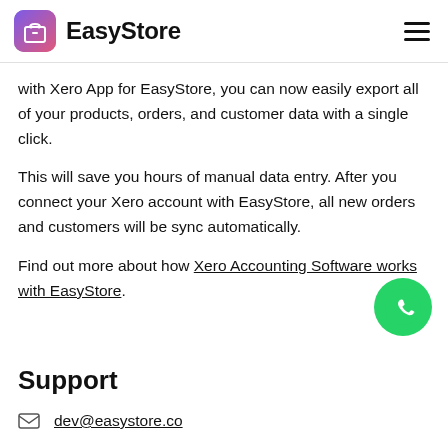EasyStore
with Xero App for EasyStore, you can now easily export all of your products, orders, and customer data with a single click.
This will save you hours of manual data entry. After you connect your Xero account with EasyStore, all new orders and customers will be sync automatically.
Find out more about how Xero Accounting Software works with EasyStore.
[Figure (logo): WhatsApp floating chat button — green circle with white WhatsApp phone icon]
Support
dev@easystore.co